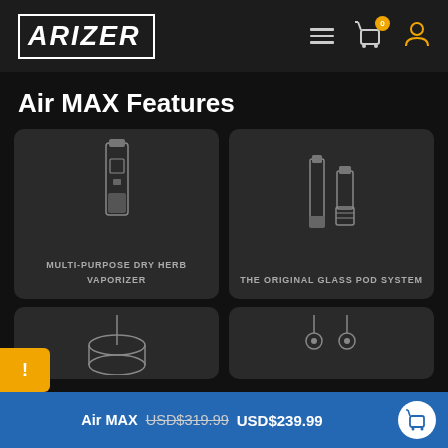ARIZER — navigation header with hamburger menu, cart (0), and user icon
Air MAX Features
[Figure (illustration): Dark rounded card showing line drawing of a multi-purpose dry herb vaporizer device, labeled MULTI-PURPOSE DRY HERB VAPORIZER]
[Figure (illustration): Dark rounded card showing line drawing of glass pod system components, labeled THE ORIGINAL GLASS POD SYSTEM]
[Figure (illustration): Partial dark rounded card at bottom left showing partially visible circular device illustration]
[Figure (illustration): Partial dark rounded card at bottom right showing partially visible device components illustration]
Air MAX  USD$319.99  USD$239.99